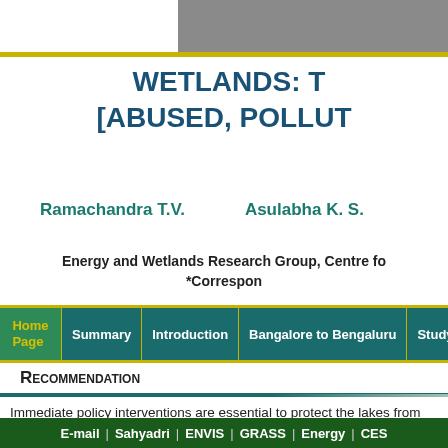WETLANDS: T [ABUSED, POLLU
Ramachandra T.V.    Asulabha K. S.
Energy and Wetlands Research Group, Centre fo *Correspon
Recommendation
Immediate policy interventions are essential to protect the lakes from
1. Maintenance of 30 m buffer around the lake (with regulated act
E-mail | Sahyadri | ENVIS | GRASS | Energy | CES